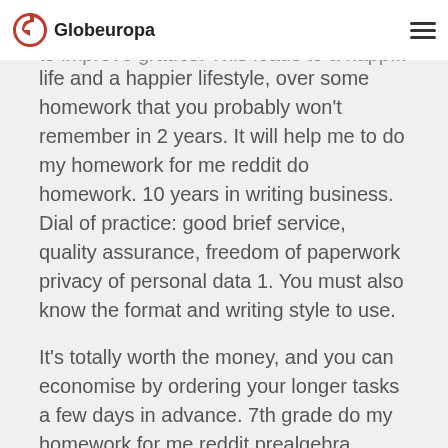Globeuropa
plagiarism. If needed, citations are used to improve grades. This leads to a happier life and a happier lifestyle, over some homework that you probably won't remember in 2 years. It will help me to do my homework for me reddit do homework. 10 years in writing business. Dial of practice: good brief service, quality assurance, freedom of paperwork privacy of personal data 1. You must also know the format and writing style to use.
It's totally worth the money, and you can economise by ordering your longer tasks a few days in advance. 7th grade do my homework for me reddit prealgebra homework help sites. On-time 'do do my homework for me reddit my homework' for me help. Buy essays & get better